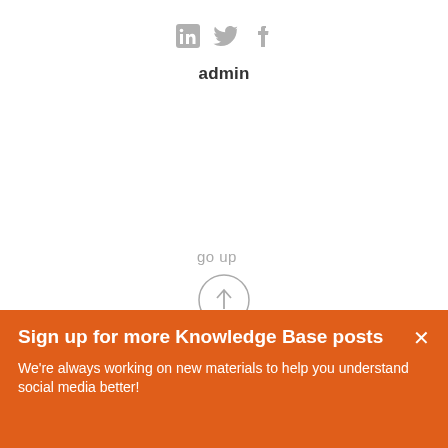[Figure (other): Social media share icons: LinkedIn, Twitter, Facebook in gray]
admin
[Figure (other): Go up arrow button: circle with upward arrow icon, labeled 'go up']
Sign up for more Knowledge Base posts
We're always working on new materials to help you understand social media better!